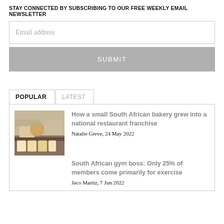STAY CONNECTED BY SUBSCRIBING TO OUR FREE WEEKLY EMAIL NEWSLETTER
Email address
SUBMIT
POPULAR
LATEST
[Figure (photo): Interior of a South African bakery with bread and display counters]
How a small South African bakery grew into a national restaurant franchise
Natalie Greve, 24 May 2022
South African gym boss: Only 25% of members come primarily for exercise
Jaco Maritz, 7 Jun 2022